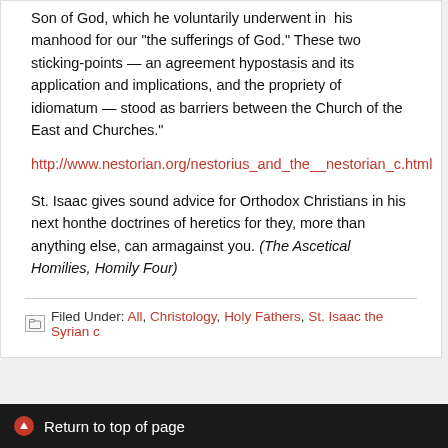Son of God, which he voluntarily underwent in his manhood for our... "the sufferings of God." These two sticking-points — an agreement... hypostasis and its application and implications, and the propriety of... idiomatum — stood as barriers between the Church of the East and... Churches."
http://www.nestorian.org/nestorius_and_the__nestorian_c.html
St. Isaac gives sound advice for Orthodox Christians in his next hom... the doctrines of heretics for they, more than anything else, can arm... against you. (The Ascetical Homilies, Homily Four)
Filed Under: All, Christology, Holy Fathers, St. Isaac the Syrian c...
Return to top of page